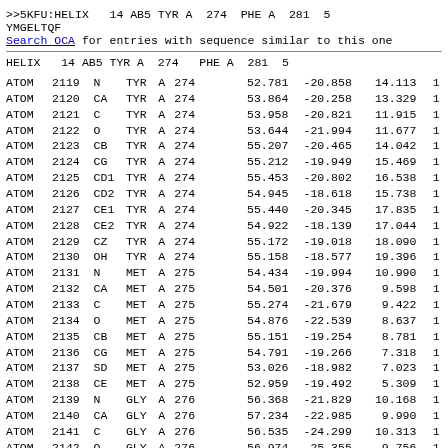>>5KFU:HELIX   14 AB5 TYR A  274  PHE A  281  5
YMGELTQF
Search OCA for entries with sequence similar to this one
HELIX   14 AB5 TYR A  274   PHE A  281  5
| Type | Num | Atom | Res | Ch | ResNo | X | Y | Z | ... |
| --- | --- | --- | --- | --- | --- | --- | --- | --- | --- |
| ATOM | 2119 | N | TYR | A | 274 | 52.781 | -20.858 | 14.113 |  |
| ATOM | 2120 | CA | TYR | A | 274 | 53.864 | -20.258 | 13.329 |  |
| ATOM | 2121 | C | TYR | A | 274 | 53.958 | -20.821 | 11.915 |  |
| ATOM | 2122 | O | TYR | A | 274 | 53.644 | -21.994 | 11.677 |  |
| ATOM | 2123 | CB | TYR | A | 274 | 55.207 | -20.465 | 14.042 |  |
| ATOM | 2124 | CG | TYR | A | 274 | 55.212 | -19.949 | 15.469 |  |
| ATOM | 2125 | CD1 | TYR | A | 274 | 55.453 | -20.802 | 16.538 |  |
| ATOM | 2126 | CD2 | TYR | A | 274 | 54.945 | -18.618 | 15.738 |  |
| ATOM | 2127 | CE1 | TYR | A | 274 | 55.440 | -20.345 | 17.835 |  |
| ATOM | 2128 | CE2 | TYR | A | 274 | 54.922 | -18.139 | 17.044 |  |
| ATOM | 2129 | CZ | TYR | A | 274 | 55.172 | -19.018 | 18.090 |  |
| ATOM | 2130 | OH | TYR | A | 274 | 55.158 | -18.577 | 19.396 |  |
| ATOM | 2131 | N | MET | A | 275 | 54.434 | -19.994 | 10.990 |  |
| ATOM | 2132 | CA | MET | A | 275 | 54.501 | -20.376 |  9.598 |  |
| ATOM | 2133 | C | MET | A | 275 | 55.274 | -21.679 |  9.422 |  |
| ATOM | 2134 | O | MET | A | 275 | 54.876 | -22.539 |  8.637 |  |
| ATOM | 2135 | CB | MET | A | 275 | 55.151 | -19.254 |  8.781 |  |
| ATOM | 2136 | CG | MET | A | 275 | 54.791 | -19.266 |  7.318 |  |
| ATOM | 2137 | SD | MET | A | 275 | 53.026 | -18.982 |  7.023 |  |
| ATOM | 2138 | CE | MET | A | 275 | 52.959 | -19.492 |  5.309 |  |
| ATOM | 2139 | N | GLY | A | 276 | 56.368 | -21.829 | 10.168 |  |
| ATOM | 2140 | CA | GLY | A | 276 | 57.234 | -22.985 |  9.990 |  |
| ATOM | 2141 | C | GLY | A | 276 | 56.535 | -24.299 | 10.313 |  |
| ATOM | 2142 | O | GLY | A | 276 | 56.974 | -25.355 |  9.756 |  |